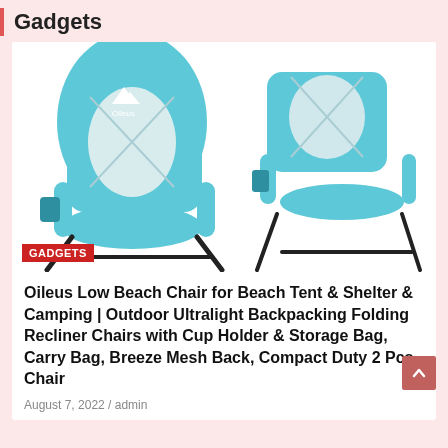Gadgets
[Figure (photo): Two Oileus low beach chairs side by side, light blue color with mesh back and black metal frame, cup holder on side. GADGETS label overlay in bottom left.]
Oileus Low Beach Chair for Beach Tent & Shelter & Camping | Outdoor Ultralight Backpacking Folding Recliner Chairs with Cup Holder & Storage Bag, Carry Bag, Breeze Mesh Back, Compact Duty 2 Pcs Chair
August 7, 2022 / admin